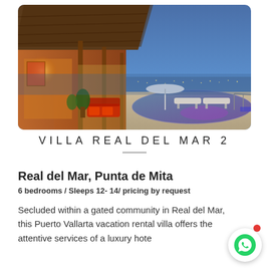[Figure (photo): Luxury villa with thatched roof, infinity pool overlooking city lights at dusk, lounge chairs and outdoor furniture on terrace]
VILLA REAL DEL MAR 2
Real del Mar, Punta de Mita
6 bedrooms / Sleeps 12- 14/ pricing by request
Secluded within a gated community in Real del Mar, this Puerto Vallarta vacation rental villa offers the attentive services of a luxury hote